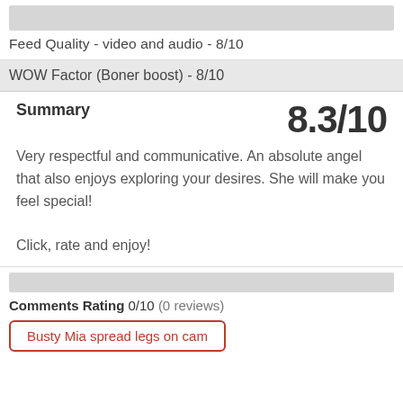Feed Quality - video and audio - 8/10
WOW Factor (Boner boost) - 8/10
Summary
8.3/10
Very respectful and communicative. An absolute angel that also enjoys exploring your desires. She will make you feel special!

Click, rate and enjoy!
Comments Rating 0/10 (0 reviews)
Busty Mia spread legs on cam